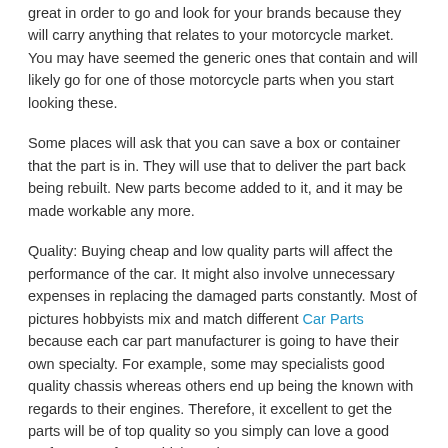great in order to go and look for your brands because they will carry anything that relates to your motorcycle market. You may have seemed the generic ones that contain and will likely go for one of those motorcycle parts when you start looking these.
Some places will ask that you can save a box or container that the part is in. They will use that to deliver the part back being rebuilt. New parts become added to it, and it may be made workable any more.
Quality: Buying cheap and low quality parts will affect the performance of the car. It might also involve unnecessary expenses in replacing the damaged parts constantly. Most of pictures hobbyists mix and match different Car Parts because each car part manufacturer is going to have their own specialty. For example, some may specialists good quality chassis whereas others end up being the known with regards to their engines. Therefore, it excellent to get the parts will be of top quality so you simply can love a good performance from vehicle and want